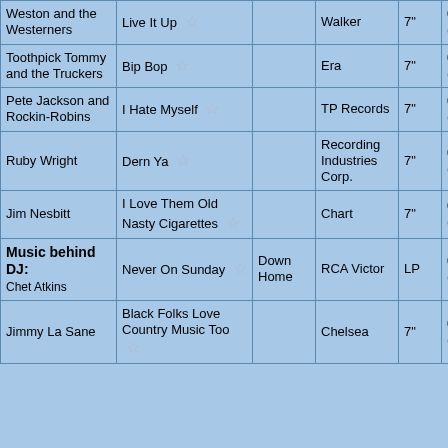| Artist | Title | Album | Label | Format | Time |
| --- | --- | --- | --- | --- | --- |
| Weston and the Westerners | Live It Up ☆ |  | Walker | 7" | 0:33:54 (Pop-up) |
| Toothpick Tommy and the Truckers | Bip Bop ☆ |  | Era | 7" | 0:35:44 (Pop-up) |
| Pete Jackson and Rockin-Robins | I Hate Myself ☆ |  | TP Records | 7" | 0:37:34 (Pop-up) |
| Ruby Wright | Dern Ya ☆ |  | Recording Industries Corp. | 7" | 0:39:49 (Pop-up) |
| Jim Nesbitt | I Love Them Old Nasty Cigarettes ☆ |  | Chart | 7" | 0:41:37 (Pop-up) |
| Music behind DJ: Chet Atkins | Never On Sunday ☆ | Down Home | RCA Victor | LP | 0:43:45 (Pop-up) |
| Jimmy La Sane | Black Folks Love Country Music Too ☆ |  | Chelsea | 7" | 0:46:53 (Pop-up) |